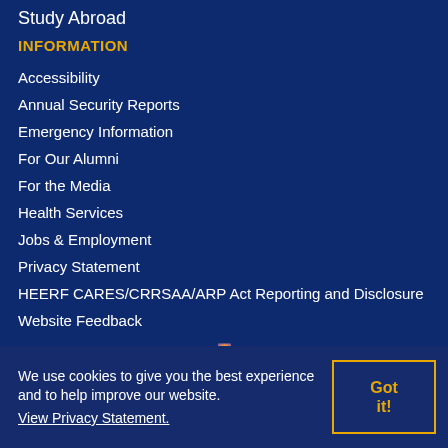Study Abroad
INFORMATION
Accessibility
Annual Security Reports
Emergency Information
For Our Alumni
For the Media
Health Services
Jobs & Employment
Privacy Statement
HEERF CARES/CRRSAA/ARP Act Reporting and Disclosure
Website Feedback
We use cookies to give you the best experience and to help improve our website. View Privacy Statement.